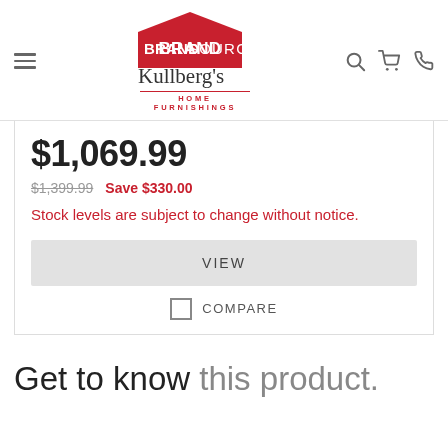[Figure (logo): BrandSource Kullberg's Home Furnishings logo with house shape in red]
$1,069.99
$1,399.99  Save $330.00
Stock levels are subject to change without notice.
VIEW
COMPARE
Get to know this product.